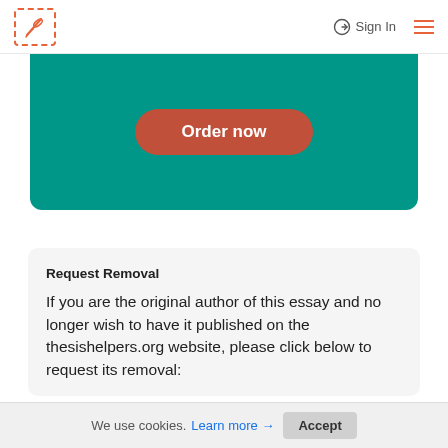Sign In
[Figure (other): Teal/green rounded banner with an orange-red 'Order now' button]
Request Removal
If you are the original author of this essay and no longer wish to have it published on the thesishelpers.org website, please click below to request its removal:
We use cookies. Learn more → Accept